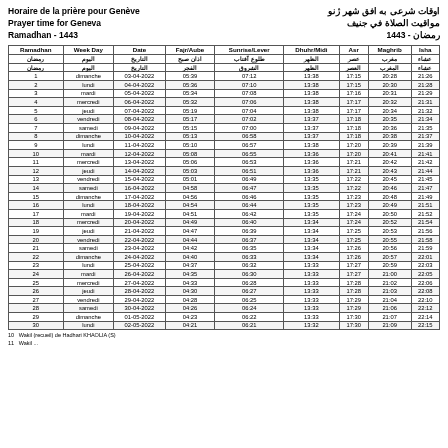Horaire de la prière pour Genève / Prayer time for Geneva / Ramadhan - 1443 | اوقات شرعی به افق شهر ژنو / مواقیت الصلاة في جنيف / رمضان - 1443
| Ramadhan رمضان رمضان | Week Day اليوم اليوم | Date التاريخ التاريخ | Fajr/Aube اذان صبح الفجر | Sunrise/Lever طلوع آفتاب الشروق | Dhuhr/Midi الظهر الظهر | Asr عصر العصر | Maghrib مغرب المغرب | Isha عشاء عشاء |
| --- | --- | --- | --- | --- | --- | --- | --- | --- |
| 1 | dimanche | 03-04-2022 | 05:39 | 07:12 | 13:38 | 17:15 | 20:28 | 21:26 |
| 2 | lundi | 04-04-2022 | 05:36 | 07:10 | 13:38 | 17:15 | 20:30 | 21:28 |
| 3 | mardi | 05-04-2022 | 05:34 | 07:08 | 13:38 | 17:16 | 20:31 | 21:29 |
| 4 | mercredi | 06-04-2022 | 05:32 | 07:06 | 13:38 | 17:17 | 20:32 | 21:31 |
| 5 | jeudi | 07-04-2022 | 05:19 | 07:04 | 13:38 | 17:17 | 20:34 | 21:32 |
| 6 | vendredi | 08-04-2022 | 05:17 | 07:02 | 13:37 | 17:18 | 20:35 | 21:34 |
| 7 | samedi | 09-04-2022 | 05:15 | 07:00 | 13:37 | 17:18 | 20:36 | 21:35 |
| 8 | dimanche | 10-04-2022 | 05:13 | 06:58 | 13:37 | 17:18 | 20:38 | 21:37 |
| 9 | lundi | 11-04-2022 | 05:10 | 06:57 | 13:38 | 17:20 | 20:39 | 21:39 |
| 10 | mardi | 12-04-2022 | 05:08 | 06:55 | 13:36 | 17:20 | 20:41 | 21:41 |
| 11 | mercredi | 13-04-2022 | 05:06 | 06:53 | 13:36 | 17:21 | 20:42 | 21:42 |
| 12 | jeudi | 14-04-2022 | 05:03 | 06:51 | 13:36 | 17:21 | 20:43 | 21:44 |
| 13 | vendredi | 15-04-2022 | 05:01 | 06:49 | 13:35 | 17:22 | 20:45 | 21:45 |
| 14 | samedi | 16-04-2022 | 04:58 | 06:47 | 13:35 | 17:22 | 20:46 | 21:47 |
| 15 | dimanche | 17-04-2022 | 04:56 | 06:46 | 13:35 | 17:23 | 20:48 | 21:49 |
| 16 | lundi | 18-04-2022 | 04:54 | 06:44 | 13:35 | 17:23 | 20:49 | 21:51 |
| 17 | mardi | 19-04-2022 | 04:51 | 06:42 | 13:35 | 17:24 | 20:50 | 21:52 |
| 18 | mercredi | 20-04-2022 | 04:49 | 06:40 | 13:34 | 17:24 | 20:52 | 21:54 |
| 19 | jeudi | 21-04-2022 | 04:47 | 06:39 | 13:34 | 17:25 | 20:53 | 21:56 |
| 20 | vendredi | 22-04-2022 | 04:44 | 06:37 | 13:34 | 17:25 | 20:55 | 21:58 |
| 21 | samedi | 23-04-2022 | 04:42 | 06:35 | 13:34 | 17:26 | 20:56 | 21:59 |
| 22 | dimanche | 24-04-2022 | 04:40 | 06:33 | 13:34 | 17:26 | 20:57 | 22:01 |
| 23 | lundi | 25-04-2022 | 04:37 | 06:32 | 13:33 | 17:27 | 20:59 | 22:03 |
| 24 | mardi | 26-04-2022 | 04:35 | 06:30 | 13:33 | 17:27 | 21:00 | 22:05 |
| 25 | mercredi | 27-04-2022 | 04:33 | 06:28 | 13:33 | 17:28 | 21:02 | 22:06 |
| 26 | jeudi | 28-04-2022 | 04:30 | 06:27 | 13:33 | 17:28 | 21:03 | 22:08 |
| 27 | vendredi | 29-04-2022 | 04:28 | 06:25 | 13:33 | 17:29 | 21:04 | 22:10 |
| 28 | samedi | 30-04-2022 | 04:26 | 06:24 | 13:33 | 17:29 | 21:06 | 22:12 |
| 29 | dimanche | 01-05-2022 | 04:23 | 06:22 | 13:33 | 17:30 | 21:07 | 22:14 |
| 30 | lundi | 02-05-2022 | 04:21 | 06:21 | 13:32 | 17:30 | 21:09 | 22:15 |
10   Wakil (recueil) de Hadhari KHAOLIA (S)
11   Wakil ...